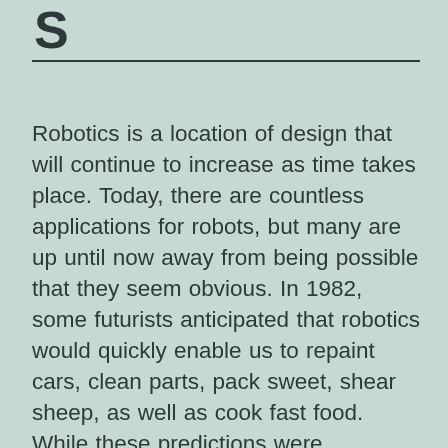S
Robotics is a location of design that will continue to increase as time takes place. Today, there are countless applications for robots, but many are up until now away from being possible that they seem obvious. In 1982, some futurists anticipated that robotics would quickly enable us to repaint cars, clean parts, pack sweet, shear sheep, as well as cook fast food. While these predictions were